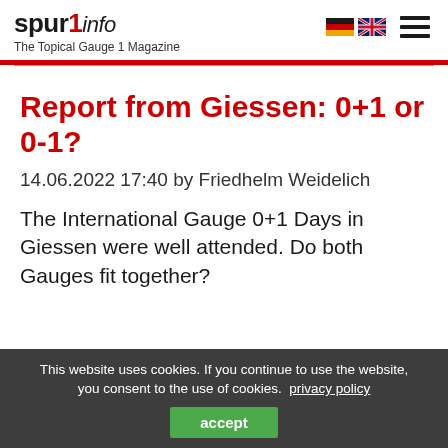spur1info — The Topical Gauge 1 Magazine
Report from Giessen: 0+1 or 0-1?
14.06.2022 17:40 by Friedhelm Weidelich
The International Gauge 0+1 Days in Giessen were well attended. Do both Gauges fit together?
This website uses cookies. If you continue to use the website, you consent to the use of cookies. privacy policy accept